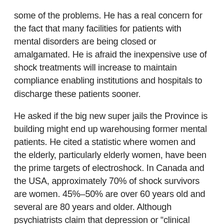some of the problems. He has a real concern for the fact that many facilities for patients with mental disorders are being closed or amalgamated. He is afraid the inexpensive use of shock treatments will increase to maintain compliance enabling institutions and hospitals to discharge these patients sooner.
He asked if the big new super jails the Province is building might end up warehousing former mental patients. He cited a statistic where women and the elderly, particularly elderly women, have been the prime targets of electroshock. In Canada and the USA, approximately 70% of shock survivors are women. 45%–50% are over 60 years old and several are 80 years and older. Although psychiatrists claim that depression or "clinical depression" is the main indication to administer electro-shock, people with other conditions such as anxiety, mania, post-partum depression, alcoholism, schizophrenia and dementia have also undergone electroshock.